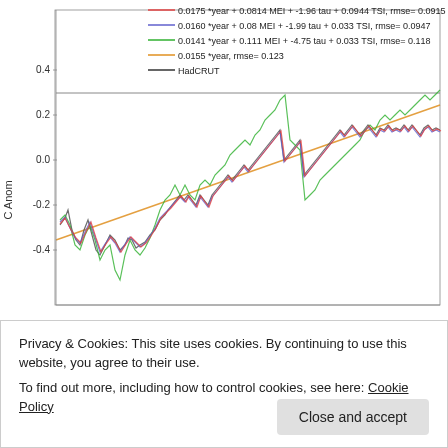[Figure (continuous-plot): Time series line chart showing temperature anomaly (C Anom) on y-axis ranging from about -0.5 to 0.5+. Multiple colored lines: red (0.0175*year + 0.0814 MEI + -1.96 tau + 0.0944 TSI, rmse=0.0915), blue (0.0160*year + 0.08 MEI + -1.99 tau + 0.033 TSI, rmse=0.0947), green (0.0141*year + 0.111 MEI + -4.75 tau + 0.033 TSI, rmse=0.118), orange (0.0155*year, rmse=0.123), black/grey (HadCRUT). Legend in top area. Horizontal grey line near 0.3.]
Privacy & Cookies: This site uses cookies. By continuing to use this website, you agree to their use.
To find out more, including how to control cookies, see here: Cookie Policy